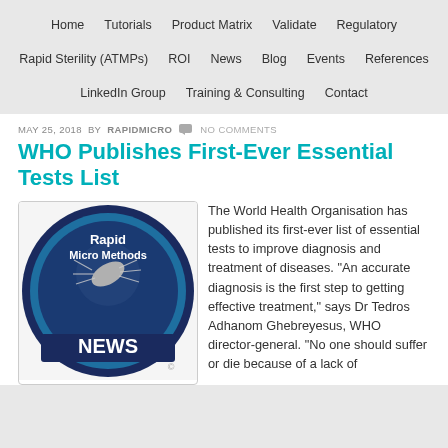Home  Tutorials  Product Matrix  Validate  Regulatory  Rapid Sterility (ATMPs)  ROI  News  Blog  Events  References  LinkedIn Group  Training & Consulting  Contact
MAY 25, 2018 BY RAPIDMICRO  NO COMMENTS
WHO Publishes First-Ever Essential Tests List
[Figure (logo): Circular blue badge with 'Rapid Micro Methods NEWS' text and a microscopic organism image, with copyright symbol]
The World Health Organisation has published its first-ever list of essential tests to improve diagnosis and treatment of diseases. "An accurate diagnosis is the first step to getting effective treatment," says Dr Tedros Adhanom Ghebreyesus, WHO director-general. "No one should suffer or die because of a lack of